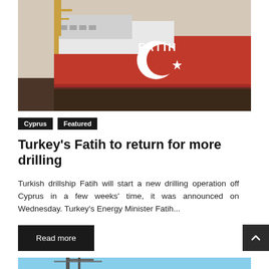[Figure (photo): Turkish drillship Fatih with red hull bearing Turkish crescent and star symbol, with drilling rig structure visible, name FATIH on the hull]
Cyprus
Featured
Turkey's Fatih to return for more drilling
Turkish drillship Fatih will start a new drilling operation off Cyprus in a few weeks' time, it was announced on Wednesday. Turkey's Energy Minister Fatih...
Read more
[Figure (photo): Partial view of a ship or offshore structure against blue sky, bottom of page]